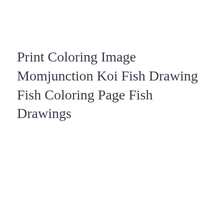Print Coloring Image Momjunction Koi Fish Drawing Fish Coloring Page Fish Drawings